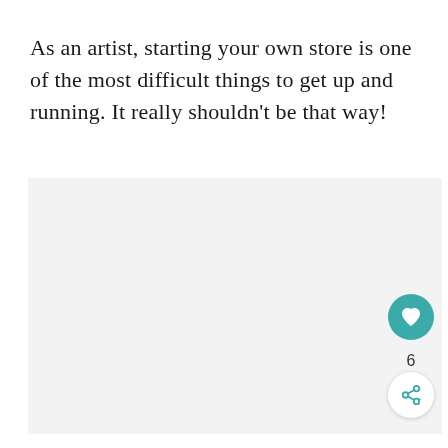As an artist, starting your own store is one of the most difficult things to get up and running. It really shouldn't be that way!
[Figure (other): Large light gray placeholder rectangle occupying the lower two-thirds of the page, with a teal heart/like button (showing count 6) and a white share button overlaid at bottom-right.]